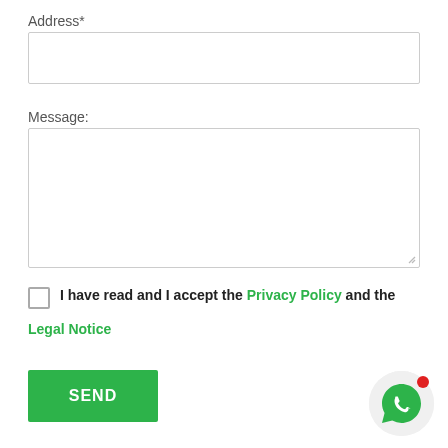Address*
Message:
I have read and I accept the Privacy Policy and the Legal Notice
SEND
[Figure (illustration): WhatsApp icon button (green speech bubble with phone handset) with a red notification dot in the top-right corner, on a light gray circular background.]